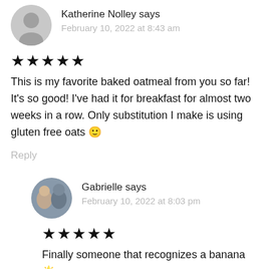Katherine Nolley says
February 10, 2022 at 8:43 am
★★★★★
This is my favorite baked oatmeal from you so far! It's so good! I've had it for breakfast for almost two weeks in a row. Only substitution I make is using gluten free oats 🙂
Reply
Gabrielle says
February 10, 2022 at 8:03 pm
★★★★★
Finally someone that recognizes a banana 🌟